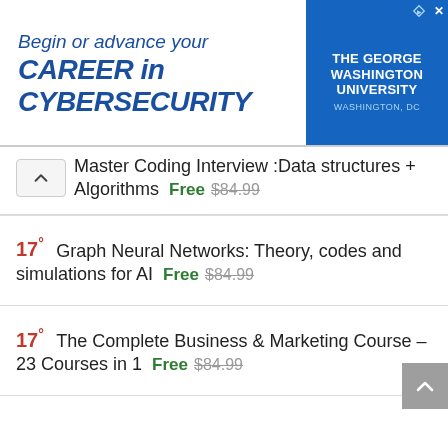[Figure (other): Advertisement banner for The George Washington University: 'Begin or advance your CAREER in CYBERSECURITY' with university logo on blue background]
Master Coding Interview :Data structures + Algorithms  Free  $84.99
17°  Graph Neural Networks: Theory, codes and simulations for AI  Free  $84.99
17°  The Complete Business & Marketing Course – 23 Courses in 1  Free  $84.99